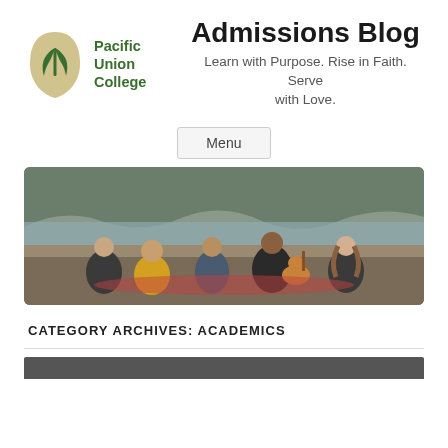[Figure (logo): Pacific Union College logo with leaf/arch icon and green text]
Admissions Blog
Learn with Purpose. Rise in Faith. Serve with Love.
Menu
[Figure (photo): Five college students sitting on a beach, one playing guitar, smiling and socializing]
CATEGORY ARCHIVES: ACADEMICS